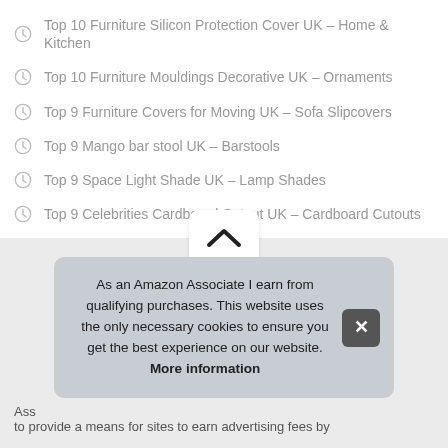Top 10 Furniture Silicon Protection Cover UK – Home & Kitchen
Top 10 Furniture Mouldings Decorative UK – Ornaments
Top 9 Furniture Covers for Moving UK – Sofa Slipcovers
Top 9 Mango bar stool UK – Barstools
Top 9 Space Light Shade UK – Lamp Shades
Top 9 Celebrities Cardboard Cutout UK – Cardboard Cutouts
[Figure (illustration): Scroll-to-top button with chevron up icon on white rounded rectangle]
As an Amazon Associate I earn from qualifying purchases. This website uses the only necessary cookies to ensure you get the best experience on our website. More information
Ass[ociate program] to provide a means for sites to earn advertising fees by